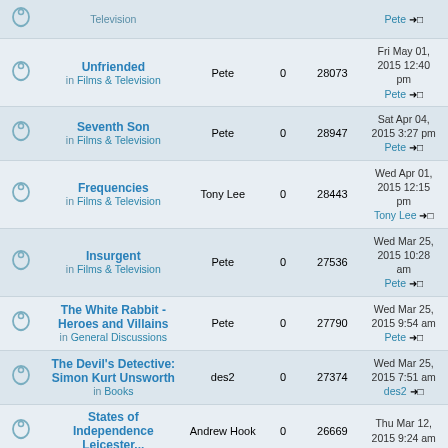|  | Topic | Author | Replies | Views | Last post |
| --- | --- | --- | --- | --- | --- |
| [icon] | Television |  |  |  | Pete →□ |
| [icon] | Unfriended
in Films & Television | Pete | 0 | 28073 | Fri May 01, 2015 12:40 pm
Pete →□ |
| [icon] | Seventh Son
in Films & Television | Pete | 0 | 28947 | Sat Apr 04, 2015 3:27 pm
Pete →□ |
| [icon] | Frequencies
in Films & Television | Tony Lee | 0 | 28443 | Wed Apr 01, 2015 12:15 pm
Tony Lee →□ |
| [icon] | Insurgent
in Films & Television | Pete | 0 | 27536 | Wed Mar 25, 2015 10:28 am
Pete →□ |
| [icon] | The White Rabbit - Heroes and Villains
in General Discussions | Pete | 0 | 27790 | Wed Mar 25, 2015 9:54 am
Pete →□ |
| [icon] | The Devil's Detective: Simon Kurt Unsworth
in Books | des2 | 0 | 27374 | Wed Mar 25, 2015 7:51 am
des2 →□ |
| [icon] | States of Independence Leicester... | Andrew Hook | 0 | 26669 | Thu Mar 12, 2015 9:24 am
... |